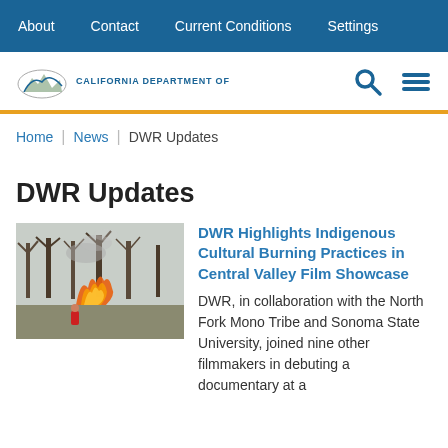About | Contact | Current Conditions | Settings
[Figure (logo): California Department of Water Resources logo with mountain/bear graphic and text 'CALIFORNIA DEPARTMENT OF']
Home | News | DWR Updates
DWR Updates
[Figure (photo): A controlled burn/cultural fire with orange flames and smoke among bare trees; a person in red visible in foreground]
DWR Highlights Indigenous Cultural Burning Practices in Central Valley Film Showcase
DWR, in collaboration with the North Fork Mono Tribe and Sonoma State University, joined nine other filmmakers in debuting a documentary at a